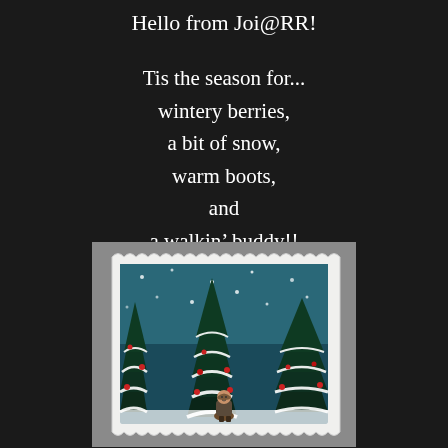Hello from Joi@RR!
Tis the season for...
wintery berries,
a bit of snow,
warm boots,
and
a walkin' buddy!!
[Figure (illustration): A decorative greeting card with scalloped white border showing a winter painting of snow-covered evergreen trees with red berries and a small figure in a winter coat at the bottom center, on a gray textured background.]